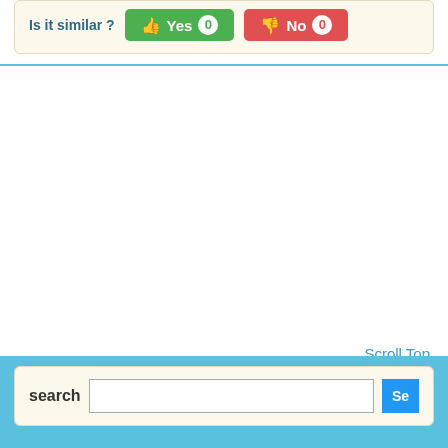Is it similar? Yes 0  No 0
Scroll Top
search Se